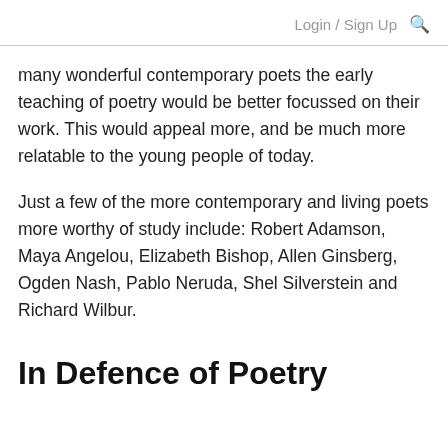Login / Sign Up
many wonderful contemporary poets the early teaching of poetry would be better focussed on their work. This would appeal more, and be much more relatable to the young people of today.
Just a few of the more contemporary and living poets more worthy of study include: Robert Adamson, Maya Angelou, Elizabeth Bishop, Allen Ginsberg, Ogden Nash, Pablo Neruda, Shel Silverstein and Richard Wilbur.
In Defence of Poetry